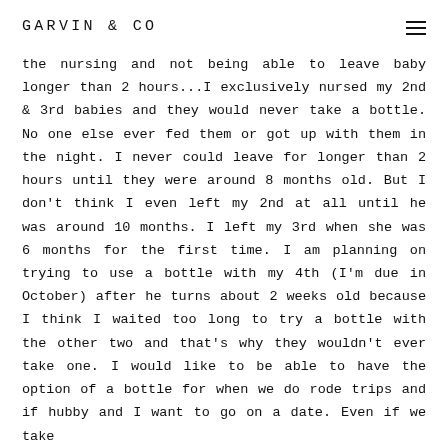GARVIN & CO
the nursing and not being able to leave baby longer than 2 hours...I exclusively nursed my 2nd & 3rd babies and they would never take a bottle. No one else ever fed them or got up with them in the night. I never could leave for longer than 2 hours until they were around 8 months old. But I don't think I even left my 2nd at all until he was around 10 months. I left my 3rd when she was 6 months for the first time. I am planning on trying to use a bottle with my 4th (I'm due in October) after he turns about 2 weeks old because I think I waited too long to try a bottle with the other two and that's why they wouldn't ever take one. I would like to be able to have the option of a bottle for when we do rode trips and if hubby and I want to go on a date. Even if we take